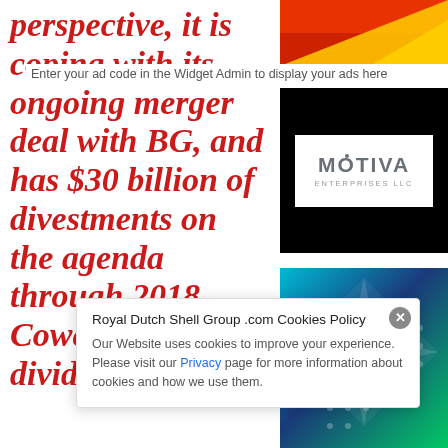perspective, it is coping with its ongoing merger deal with BG, and has $30 billion of divestments on the agenda through 2018. Cowen sees a dividend-inclusive
Enter your ad code in the Widget Admin to display your ads here
[Figure (logo): Red and yellow logo area (top right, partially visible)]
[Figure (logo): Motiva Enterprises LLC logo on black background]
[Figure (illustration): Saudi Aramco / blue-green star pattern on gradient background]
Royal Dutch Shell Group .com Cookies Policy
Our Website uses cookies to improve your experience. Please visit our Privacy page for more information about cookies and how we use them.